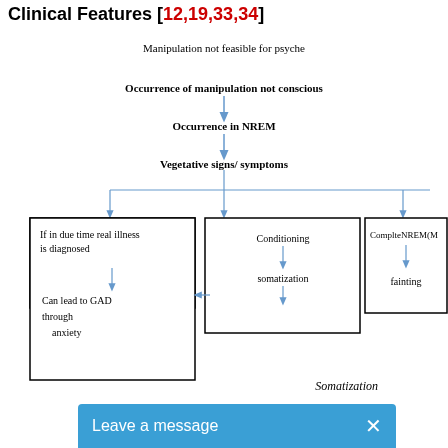Clinical Features [12,19,33,34]
[Figure (flowchart): Flowchart showing clinical features pathway: 'Manipulation not feasible for psyche' at top, followed by 'Occurrence of manipulation not conscious', then 'Occurrence in NREM', then 'Vegetative signs/symptoms' branching into three: 'If in due time real illness is diagnosed' (leading to 'Can lead to GAD through anxiety'), 'Conditioning → somatization', and 'ComplteNREM(M...) → fainting'. Arrow from Conditioning somatization points back to 'If in due time...' box.]
Somatization
Leave a message